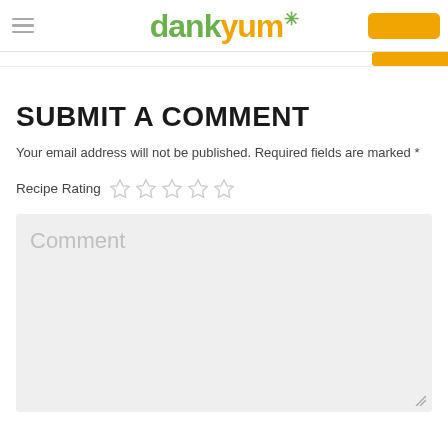dankyum
SUBMIT A COMMENT
Your email address will not be published. Required fields are marked *
Recipe Rating ☆☆☆☆☆
Comment